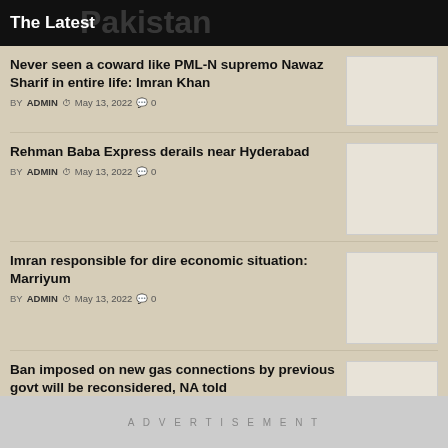The Latest
Never seen a coward like PML-N supremo Nawaz Sharif in entire life: Imran Khan
BY ADMIN  May 13, 2022  0
Rehman Baba Express derails near Hyderabad
BY ADMIN  May 13, 2022  0
Imran responsible for dire economic situation: Marriyum
BY ADMIN  May 13, 2022  0
Ban imposed on new gas connections by previous govt will be reconsidered, NA told
BY ADMIN  May 13, 2022  0
ADVERTISEMENT